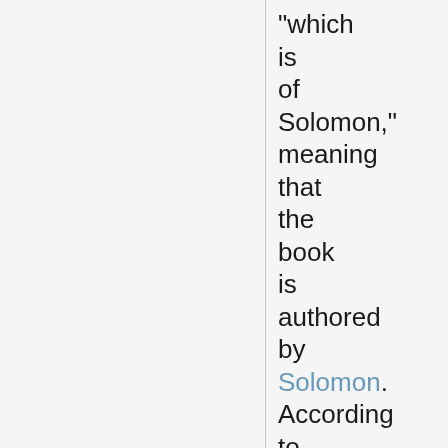"which is of Solomon," meaning that the book is authored by Solomon. According to Jewish